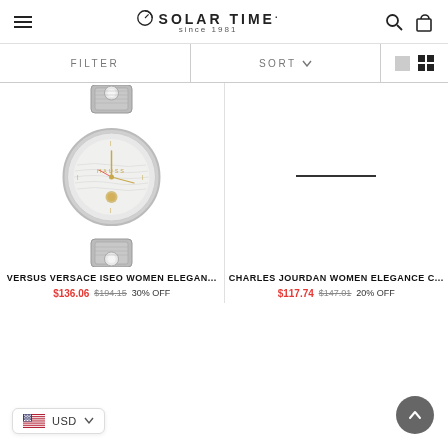Solar Time since 1981
FILTER   SORT ∨   [view options]
[Figure (photo): Versus Versace Iseo Women Elegance watch with silver mesh bracelet, crystal accents, and gold-tone dial details]
VERSUS VERSACE ISEO WOMEN ELEGAN...
$136.06  $194.15  30% OFF
[Figure (photo): Charles Jourdan Women Elegance C... watch placeholder image showing a horizontal line]
CHARLES JOURDAN WOMEN ELEGANCE C...
$117.74  $147.01  20% OFF
USD